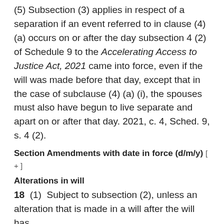(5) Subsection (3) applies in respect of a separation if an event referred to in clause (4) (a) occurs on or after the day subsection 4 (2) of Schedule 9 to the Accelerating Access to Justice Act, 2021 came into force, even if the will was made before that day, except that in the case of subclause (4) (a) (i), the spouses must also have begun to live separate and apart on or after that day. 2021, c. 4, Sched. 9, s. 4 (2).
Section Amendments with date in force (d/m/y) [+]
Alterations in will
18 (1) Subject to subsection (2), unless an alteration that is made in a will after the will has 8 result(s) prev next in accordance with the provisions of this Part governing making of the